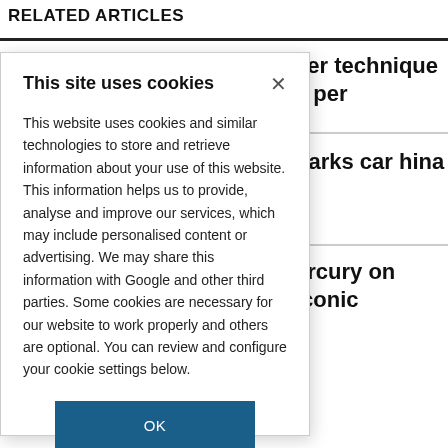RELATED ARTICLES
ser technique s per
parks car hina
ercury on iconic
This site uses cookies
This website uses cookies and similar technologies to store and retrieve information about your use of this website. This information helps us to provide, analyse and improve our services, which may include personalised content or advertising. We may share this information with Google and other third parties. Some cookies are necessary for our website to work properly and others are optional. You can review and configure your cookie settings below.
OK
COOKIE SETTINGS